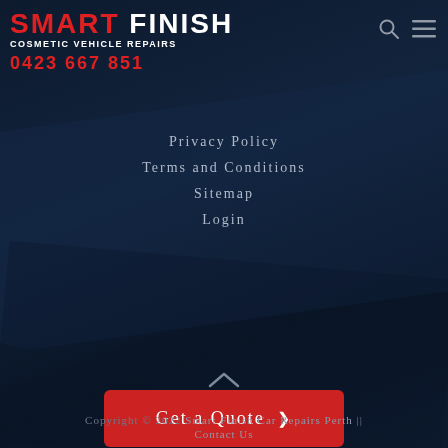SMART FINISH COSMETIC VEHICLE REPAIRS 0423 667 851
Privacy Policy
Terms and Conditions
Sitemap
Login
Get a Quote ❯
Copyright © 2022 Smart Finish Car Repairs Perth || Contact Us